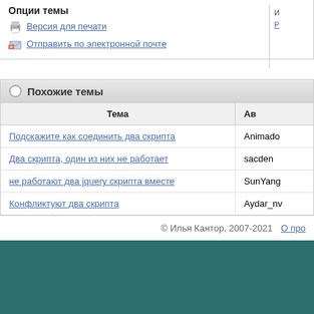Опции темы
Версия для печати
Отправить по электронной почте
Похожие темы
| Тема | Ав |
| --- | --- |
| Подскажите как соединить два скрипта | Animado |
| Два скрипта, один из них не работает | sacden |
| не работают два jquery скрипта вместе | SunYang |
| Конфликтуют два скрипта | Aydar_nv |
| Блок переключения меню на JS, два скрипта в одном файле | Dizeloid |
© Илья Кантор, 2007-2021   О про